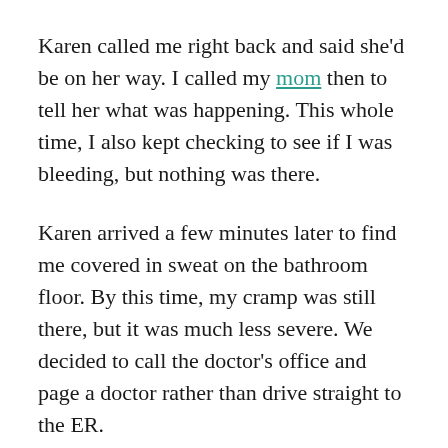Karen called me right back and said she'd be on her way. I called my mom then to tell her what was happening. This whole time, I also kept checking to see if I was bleeding, but nothing was there.
Karen arrived a few minutes later to find me covered in sweat on the bathroom floor. By this time, my cramp was still there, but it was much less severe. We decided to call the doctor's office and page a doctor rather than drive straight to the ER.
One of my practice's doctors called me back within minutes. His first question asked if I was bleeding. I said no.